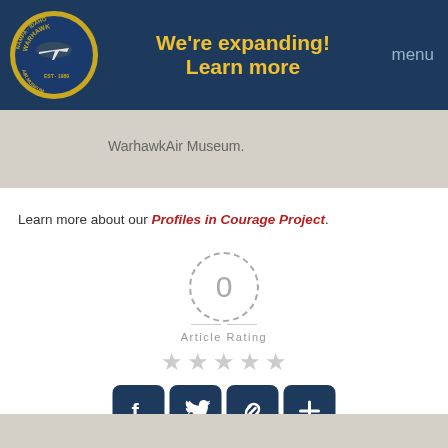We're expanding! Learn more | menu
WarhawkAir Museum.
Learn more about our Profiles in Courage Project.
[Figure (infographic): Article rating widget showing 0 rating with dashed circle, 'Article Rating' label, and five empty gray stars]
[Figure (infographic): Social sharing buttons: Facebook, Twitter, Link/Copy, and Add (+) icons in dark navy rounded squares]